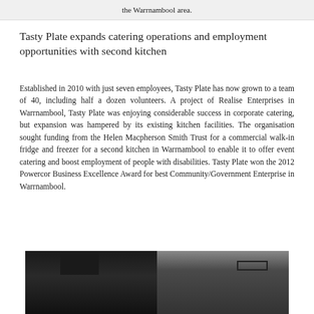the Warrnambool area.
Tasty Plate expands catering operations and employment opportunities with second kitchen
Established in 2010 with just seven employees, Tasty Plate has now grown to a team of 40, including half a dozen volunteers. A project of Realise Enterprises in Warrnambool, Tasty Plate was enjoying considerable success in corporate catering, but expansion was hampered by its existing kitchen facilities. The organisation sought funding from the Helen Macpherson Smith Trust for a commercial walk-in fridge and freezer for a second kitchen in Warrnambool to enable it to offer event catering and boost employment of people with disabilities. Tasty Plate won the 2012 Powercor Business Excellence Award for best Community/Government Enterprise in Warrnambool.
[Figure (photo): Two people in black uniforms and chef hats working in a kitchen environment]